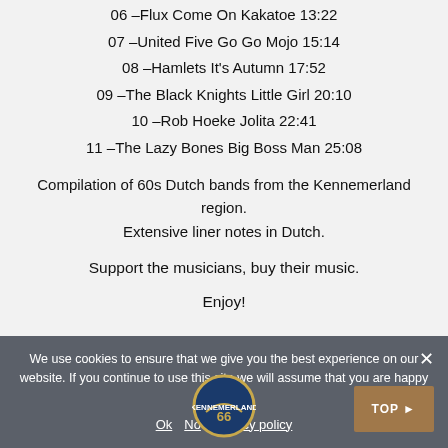06 –Flux Come On Kakatoe 13:22
07 –United Five Go Go Mojo 15:14
08 –Hamlets It's Autumn 17:52
09 –The Black Knights Little Girl 20:10
10 –Rob Hoeke Jolita 22:41
11 –The Lazy Bones Big Boss Man 25:08
Compilation of 60s Dutch bands from the Kennemerland region. Extensive liner notes in Dutch.
Support the musicians, buy their music.
Enjoy!
We use cookies to ensure that we give you the best experience on our website. If you continue to use this site we will assume that you are happy with it.
Ok   No   Privacy policy